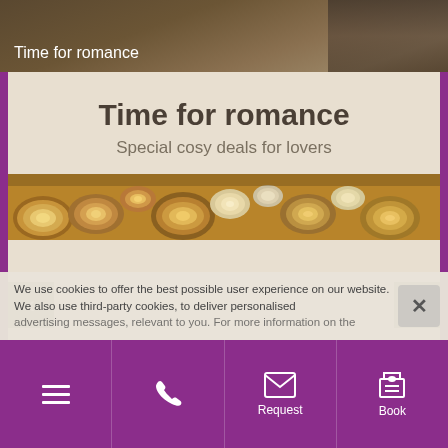[Figure (photo): Dark brownish photo of outdoor scene with text 'Time for romance' overlaid in white]
Time for romance
Special cosy deals for lovers
[Figure (photo): Close-up photo of stacked wooden logs showing circular cross-sections]
We use cookies to offer the best possible user experience on our website. We also use third-party cookies, to deliver personalised
Menu | Phone | Request | Book